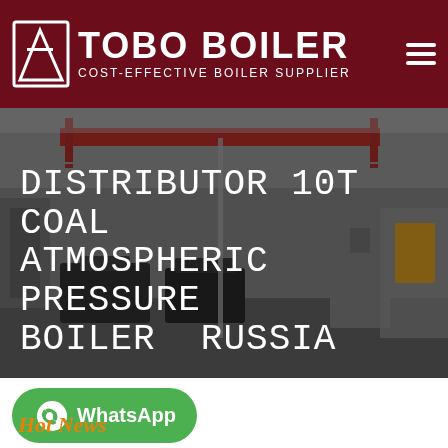TOBO BOILER — COST-EFFECTIVE BOILER SUPPLIER
[Figure (photo): Industrial boiler manufacturing facility interior with large machinery, cranes, and boiler equipment on the factory floor. Overlaid with large white text reading: DISTRIBUTOR 10T COAL ATMOSPHERIC PRESSURE BOILER RUSSIA]
DISTRIBUTOR 10T COAL ATMOSPHERIC PRESSURE BOILER RUSSIA
[Figure (logo): WhatsApp button — green rounded rectangle with WhatsApp phone icon and text 'WhatsApp']
Hot News